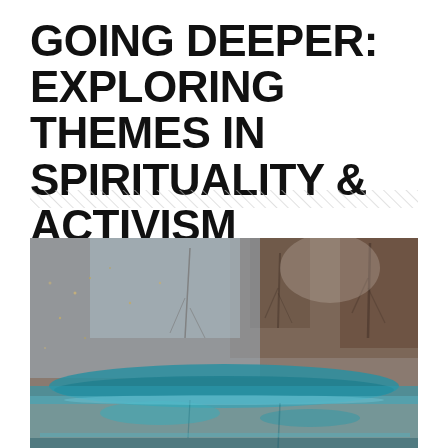GOING DEEPER: EXPLORING THEMES IN SPIRITUALITY & ACTIVISM
[Figure (illustration): Decorative diagonal hatching/striped divider line spanning the width of the page]
[Figure (photo): Abstract artistic photograph showing teal/turquoise paint or ink pooled at the bottom of a weathered surface with brown tones, tree-like reflections or shadows visible in the background, creating an atmospheric layered effect]